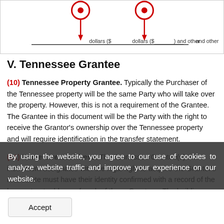[Figure (illustration): Top portion of a legal document form showing two red circled markers with arrows pointing down to a line with 'dollars ($____) and other' text]
V. Tennessee Grantee
(10) Tennessee Property Grantee. Typically the Purchaser of the Tennessee property will be the same Party who will take over the property. However, this is not a requirement of the Grantee. The Grantee in this document will be the Party with the right to receive the Grantor's ownership over the Tennessee property and will require identification in the transfer statement.
(11) Home Street Address. The Tennessee Grantee(s) this instrument designates with the legal right to acquire the Grantor's real estate must have their identity confirmed with a record of the home street address of each of these Grantees. The building number, the street or road, as well as the number needed to access the Tennessee Grantees residence must make up the next report needed
By using the website, you agree to our use of cookies to analyze website traffic and improve your experience on our website.